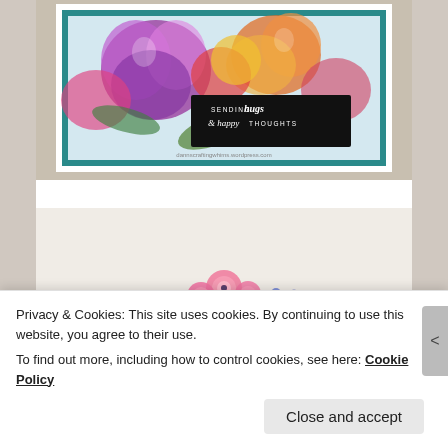[Figure (photo): Handmade greeting card with colorful floral watercolor design, featuring large pink, purple, orange and yellow flowers. A black sentiment panel reads 'SENDING hugs & happy THOUGHTS' in white text. Teal border around the card. Website watermark reads 'dannscraftingwhims.wordpress.com']
[Figure (photo): Partial view of a crafting card with a pink and peach floral bouquet arrangement at center top, and large bold pink text below reading 'THAT'S RIGHT!!']
Privacy & Cookies: This site uses cookies. By continuing to use this website, you agree to their use.
To find out more, including how to control cookies, see here: Cookie Policy
Close and accept